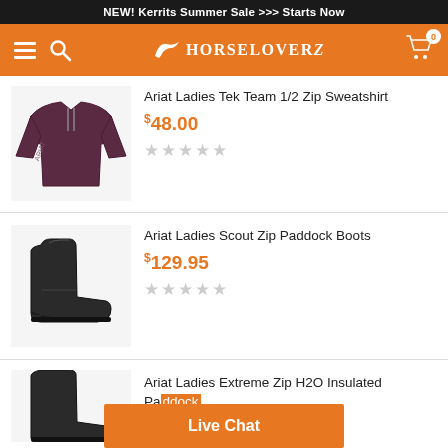NEW! Kerrits Summer Sale >>> Starts Now
[Figure (screenshot): HorseLoverZ website navigation bar with orange background, hamburger menu, search icon, logo, and cart icon showing 0 items]
Ariat Ladies Tek Team 1/2 Zip Sweatshirt
$48.00
Ariat Ladies Scout Zip Paddock Boots
$129.95
Ariat Ladies Extreme Zip H2O Insulated Paddock
$1...
Live Chat